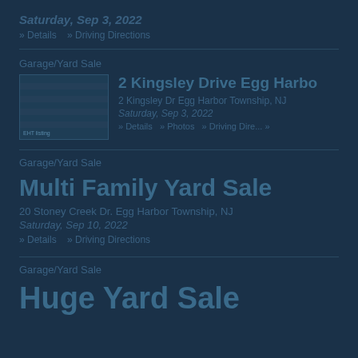Saturday, Sep 3, 2022
» Details   » Driving Directions
Garage/Yard Sale
[Figure (photo): Thumbnail photo of a garage sale location]
2 Kingsley Drive Egg Harbor
2 Kingsley Dr  Egg Harbor Township, NJ
Saturday, Sep 3, 2022
» Details   » Photos   » Driving Directions
Garage/Yard Sale
Multi Family Yard Sale
20 Stoney Creek Dr. Egg Harbor Township, NJ
Saturday, Sep 10, 2022
» Details   » Driving Directions
Garage/Yard Sale
Huge Yard Sale